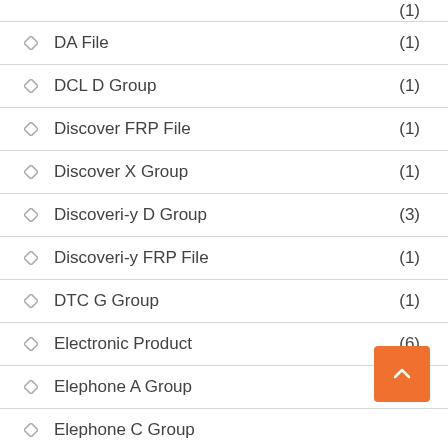DA File (1)
DCL D Group (1)
Discover FRP File (1)
Discover X Group (1)
Discoveri-y D Group (3)
Discoveri-y FRP File (1)
DTC G Group (1)
Electronic Product (6)
Elephone A Group (1)
Elephone C Group
Elephone f Group (1)